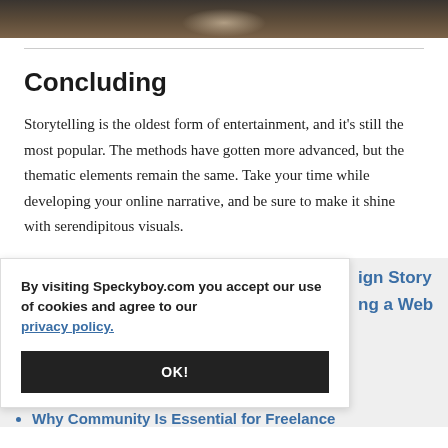[Figure (photo): Close-up photo of a cat, visible at top of page cropped to a strip]
Concluding
Storytelling is the oldest form of entertainment, and it's still the most popular. The methods have gotten more advanced, but the thematic elements remain the same. Take your time while developing your online narrative, and be sure to make it shine with serendipitous visuals.
By visiting Speckyboy.com you accept our use of cookies and agree to our privacy policy.
OK!
ign Story
ng a Web
Why Community Is Essential for Freelance